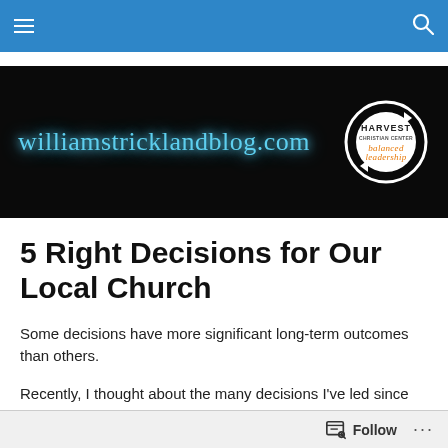Navigation bar with menu and search icons
[Figure (logo): williamstricklandblog.com banner with neon script text on dark background, and Harvest Christian Center 'balanced leadership' circular logo on right]
5 Right Decisions for Our Local Church
Some decisions have more significant long-term outcomes than others.
Recently, I thought about the many decisions I've led since
Follow ...